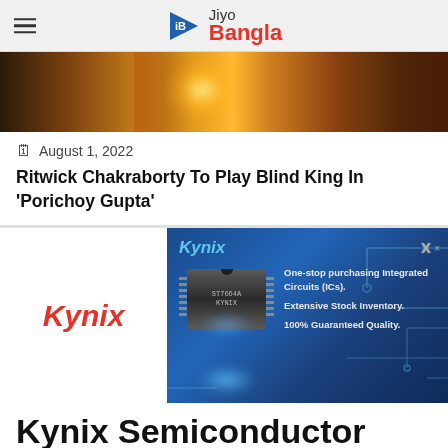Jiyo Bangla
[Figure (photo): Warm-toned hero image with orange/yellow stage lighting and figures in background]
August 1, 2022
Ritwick Chakraborty To Play Blind King In 'Porichoy Gupta'
[Figure (screenshot): Kynix semiconductor advertisement banner — blue circuit board background, IC chip image, text: One-stop purchasing Integrated Circuits (ICs). Extensive Stock Inventory. 100% Guaranteed Quality. Kynix logo on left side in red italic.]
Kynix Semiconductor
Our Sales Tea... to
READ MORE